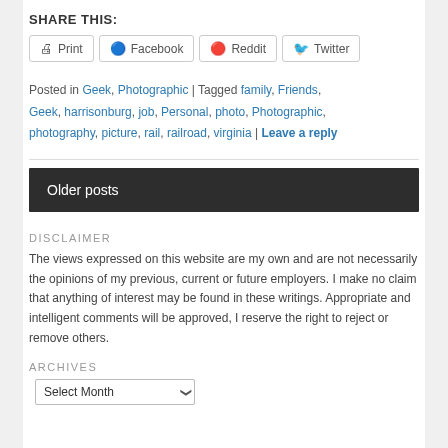SHARE THIS:
Print  Facebook  Reddit  Twitter
Posted in Geek, Photographic | Tagged family, Friends, Geek, harrisonburg, job, Personal, photo, Photographic, photography, picture, rail, railroad, virginia | Leave a reply
Older posts
DISCLAIMER
The views expressed on this website are my own and are not necessarily the opinions of my previous, current or future employers. I make no claim that anything of interest may be found in these writings. Appropriate and intelligent comments will be approved, I reserve the right to reject or remove others.
ARCHIVES